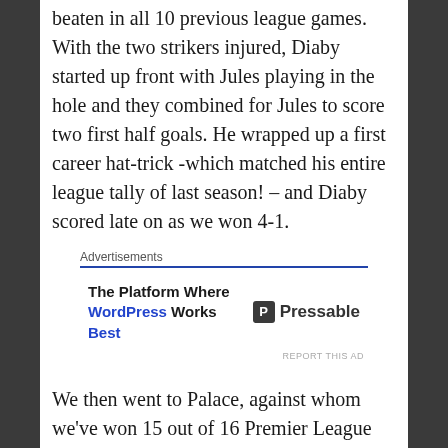beaten in all 10 previous league games. With the two strikers injured, Diaby started up front with Jules playing in the hole and they combined for Jules to score two first half goals. He wrapped up a first career hat-trick -which matched his entire league tally of last season! – and Diaby scored late on as we won 4-1.
[Figure (other): Advertisement banner: 'The Platform Where WordPress Works Best' by Pressable, with blue rule separator and 'REPORT THIS AD' label]
We then went to Palace, against whom we've won 15 out of 16 Premier League clashes, with no fit strikers. That showed as we wasted chances but Nolan, playing in midfield, saved us with a 30-yard thunderbolt. Diaby and Jules combined again for the Englishman to open the scoring at home to Watford before Martínez teed up brilliant left-back